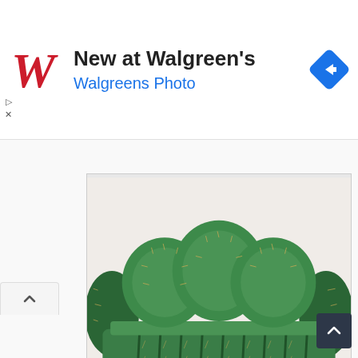[Figure (logo): Walgreens advertisement banner with red cursive W logo, 'New at Walgreen's' title, 'Walgreens Photo' subtitle in blue, and a blue diamond navigation arrow icon on the right]
[Figure (photo): A sofa shaped like and made entirely of green cactus plants, with three round cactus cushions forming the backrest and large cactus segments forming the seat and arms, displayed against a white wall on a wooden floor]
Cactus Sofa – We love this one for the craziness quotient. It was featured on an AXn ad with the tagline " Relax if you can". This one is made of real-green cactus in case you are thinking it is some other material to look like a cactus! So go